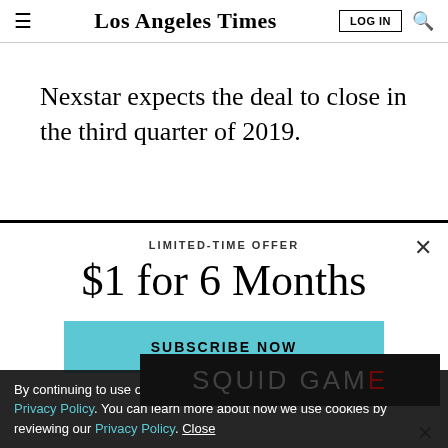Los Angeles Times | LOG IN | Search
Nexstar expects the deal to close in the third quarter of 2019.
[Figure (screenshot): Modal overlay with close button (X), 'LIMITED-TIME OFFER' label, '$1 for 6 Months' promotional heading, and a cyan 'SUBSCRIBE NOW' button.]
By continuing to use our site, you agree to our Terms of Service and Privacy Policy. You can learn more about how we use cookies by reviewing our Privacy Policy. Close